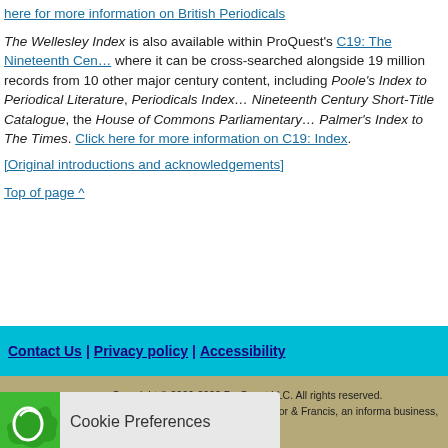here for more information on British Periodicals
The Wellesley Index is also available within ProQuest's C19: The Nineteenth Century Index, where it can be cross-searched alongside 19 million records from 10 other major century content, including Poole's Index to Periodical Literature, Periodicals Index, Nineteenth Century Short-Title Catalogue, the House of Commons Parliamentary, Palmer's Index to The Times. Click here for more information on C19: Index.
[Original introductions and acknowledgements]
Top of page ^
Contact Us | Privacy policy | Accessibility
Copyright © 2006-2022 ProQuest LLC. All rights reserved. Copyright material belonging to Taylor & Francis, an informa business, repr...
Cookie Preferences